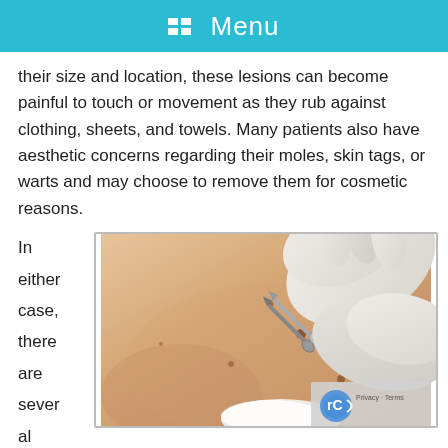Menu
their size and location, these lesions can become painful to touch or movement as they rub against clothing, sheets, and towels. Many patients also have aesthetic concerns regarding their moles, skin tags, or warts and may choose to remove them for cosmetic reasons.
In either case, there are several home remedies
[Figure (photo): Close-up photo of a medical professional in white gloves using surgical scissors or tweezers to remove a skin lesion or mole from a patient's skin. A small white gauze or cotton pad is visible nearby.]